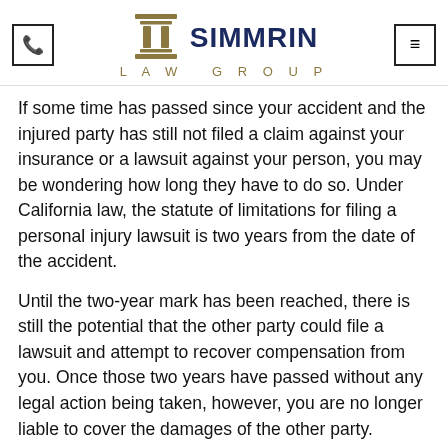Simmrin Law Group
If some time has passed since your accident and the injured party has still not filed a claim against your insurance or a lawsuit against your person, you may be wondering how long they have to do so. Under California law, the statute of limitations for filing a personal injury lawsuit is two years from the date of the accident.
Until the two-year mark has been reached, there is still the potential that the other party could file a lawsuit and attempt to recover compensation from you. Once those two years have passed without any legal action being taken, however, you are no longer liable to cover the damages of the other party.